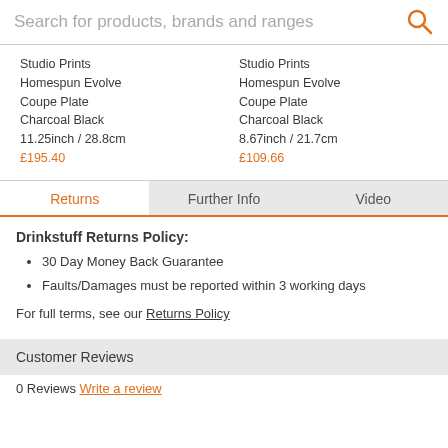Search for products, brands and ranges
Studio Prints Homespun Evolve Coupe Plate Charcoal Black 11.25inch / 28.8cm £195.40
Studio Prints Homespun Evolve Coupe Plate Charcoal Black 8.67inch / 21.7cm £109.66
Returns | Further Info | Video
Drinkstuff Returns Policy:
30 Day Money Back Guarantee
Faults/Damages must be reported within 3 working days
For full terms, see our Returns Policy
Customer Reviews
0 Reviews  Write a review